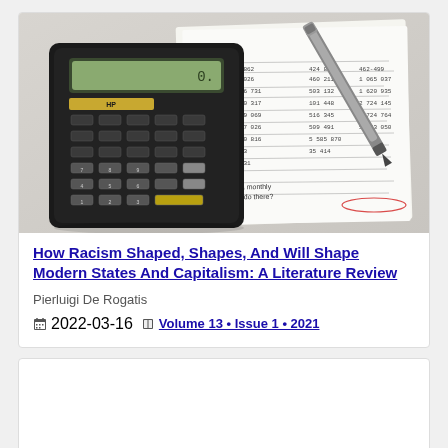[Figure (photo): Photo of a scientific calculator next to handwritten financial documents and a pen on a light background]
How Racism Shaped, Shapes, And Will Shape Modern States And Capitalism: A Literature Review
Pierluigi De Rogatis
2022-03-16   Volume 13 • Issue 1 • 2021